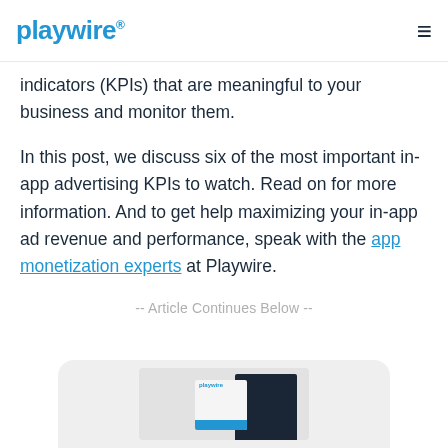playwire®
indicators (KPIs) that are meaningful to your business and monitor them.
In this post, we discuss six of the most important in-app advertising KPIs to watch. Read on for more information. And to get help maximizing your in-app ad revenue and performance, speak with the app monetization experts at Playwire.
-- Article Continues Below --
[Figure (photo): Playwire branded book/guide product image on a light grey rounded card background]